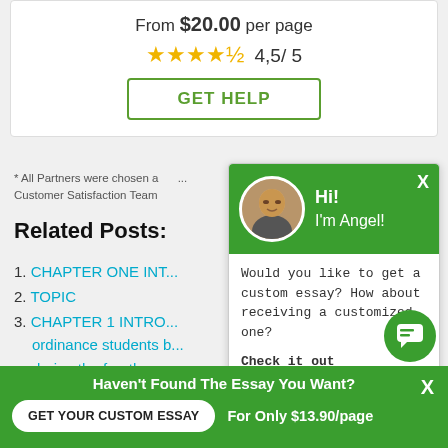From $20.00 per page
4,5 / 5
GET HELP
* All Partners were chosen am... Customer Satisfaction Team
Related Posts:
1. CHAPTER ONE INT...
2. TOPIC
3. CHAPTER 1 INTRO... ordinance students b... during the fourth se...
4. Abstract The thesis intends to aim at below a...
5. PROJECT REPORT ON FINANCIAL STATEME...
[Figure (screenshot): Chat popup overlay with green header showing avatar photo and greeting 'Hi! I'm Angel!' with chat message: 'Would you like to get a custom essay? How about receiving a customized one? Check it out']
Haven't Found The Essay You Want?
GET YOUR CUSTOM ESSAY
For Only $13.90/page